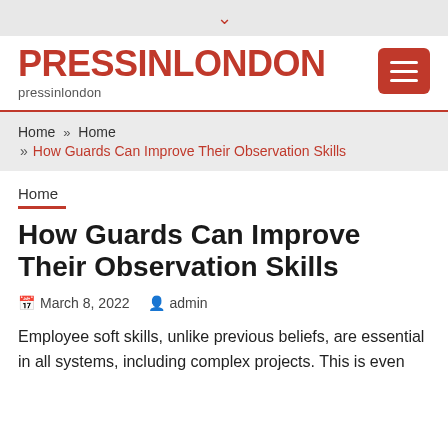▾
PRESSINLONDON
pressinlondon
Home » Home » How Guards Can Improve Their Observation Skills
Home
How Guards Can Improve Their Observation Skills
March 8, 2022   admin
Employee soft skills, unlike previous beliefs, are essential in all systems, including complex projects. This is even